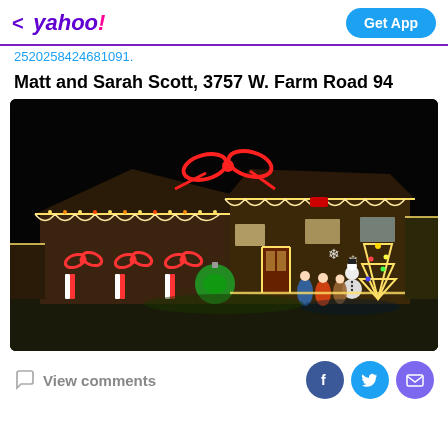< yahoo! | Get App
2520258424681091.
Matt and Sarah Scott, 3757 W. Farm Road 94
[Figure (photo): A house decorated with colorful Christmas lights at night. Large red bow outlines on the roofline, candy cane and bow decorations on the left side, large ornament, nativity or figurine displays, illuminated snowman and Christmas tree on the right. The house has warm white lights along the roofline and trim. Dark night sky background.]
View comments | Facebook | Twitter | Mail